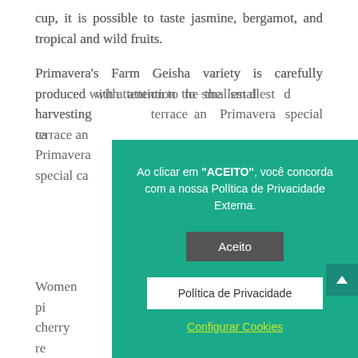cup, it is possible to taste jasmine, bergamot, and tropical and wild fruits.
Primavera's Farm Geisha variety is carefully produced with attention to the smallest d... harvesting... terrace an... Primavera... special ca...
Women pi... cherry re...
[Figure (screenshot): Cookie consent modal overlay on teal/green background. Text in Portuguese: 'Ao clicar em "ACEITO", você concorda com a nossa Política de Privacidade Externa.' with buttons: 'Aceito' (dark grey), 'Política de Privacidade' (white), and link 'Configurar Cookies' (yellow-green underlined).]